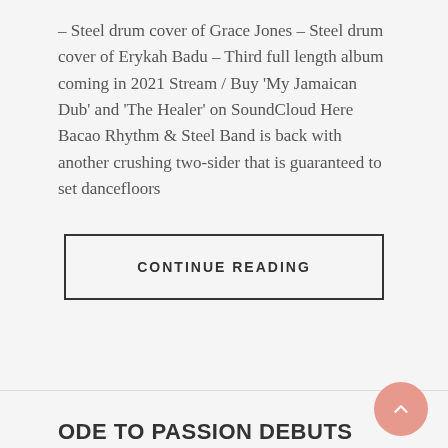– Steel drum cover of Grace Jones – Steel drum cover of Erykah Badu – Third full length album coming in 2021 Stream / Buy 'My Jamaican Dub' and 'The Healer' on SoundCloud Here Bacao Rhythm & Steel Band is back with another crushing two-sider that is guaranteed to set dancefloors
CONTINUE READING
ODE TO PASSION DEBUTS ON AMAZON PRIME VIDEO JULY 10